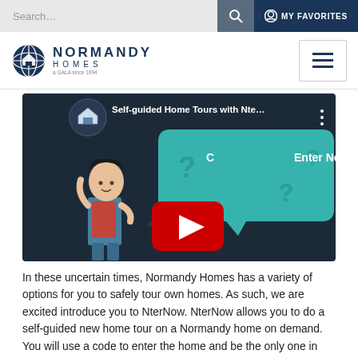Search... | MY FAVORITES
[Figure (logo): Normandy Homes logo with globe icon]
[Figure (screenshot): YouTube video thumbnail titled 'Self-guided Home Tours with Nte...' showing an animated woman character with a teal speech bubble saying 'Can you Enter Now?' and a YouTube play button overlay]
In these uncertain times, Normandy Homes has a variety of options for you to safely tour own homes. As such, we are excited introduce you to NterNow. NterNow allows you to do a self-guided new home tour on a Normandy home on demand. You will use a code to enter the home and be the only one in the home. We sanitize each home after every visit. Nte...